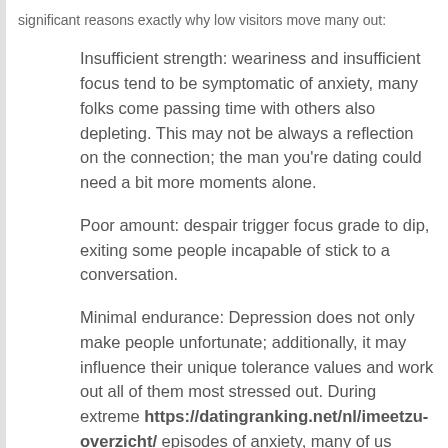significant reasons exactly why low visitors move many out:
Insufficient strength: weariness and insufficient focus tend to be symptomatic of anxiety, many folks come passing time with others also depleting. This may not be always a reflection on the connection; the man you're dating could need a bit more moments alone.
Poor amount: despair trigger focus grade to dip, exiting some people incapable of stick to a conversation.
Minimal endurance: Depression does not only make people unfortunate; additionally, it may influence their unique tolerance values and work out all of them most stressed out. During extreme https://datingranking.net/nl/imeetzu-overzicht/ episodes of anxiety, many of us